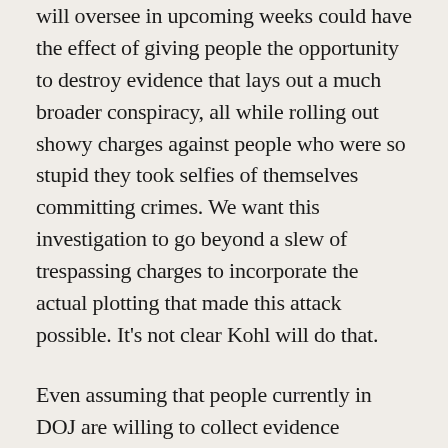will oversee in upcoming weeks could have the effect of giving people the opportunity to destroy evidence that lays out a much broader conspiracy, all while rolling out showy charges against people who were so stupid they took selfies of themselves committing crimes. We want this investigation to go beyond a slew of trespassing charges to incorporate the actual plotting that made this attack possible. It's not clear Kohl will do that.
Even assuming that people currently in DOJ are willing to collect evidence implicating Trump, short of having a confirmed Attorney General overseeing such decisions, we're back in the same situation Andrew McCabe was in on May 10, 2017, an Acting official trying to decide what to do in the immediate aftermath of a Trump crime. Trump's backers have